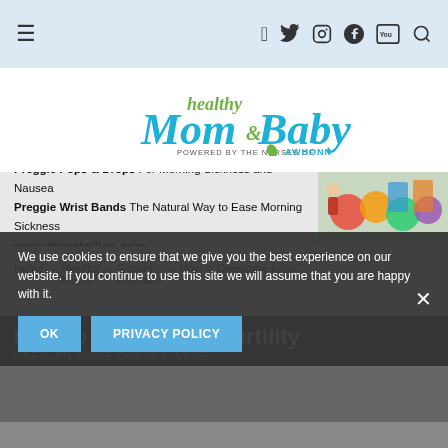Healthy Mom & Baby — POWERED BY THE NURSES OF AWHONN
[Figure (logo): Healthy Mom & Baby logo, powered by the nurses of AWHONN]
[Figure (infographic): Advertisement banner for Preggie Pops & Drops and Preggie Wrist Bands from threelollies.com]
Home » Healthy Moms » Getting Pregnant » How to Overcome Infert...
We use cookies to ensure that we give you the best experience on our website. If you continue to use this site we will assume that you are happy with it.
How to Overcome Infertility
CAROLYN DAVIS COCKEY, LCCE